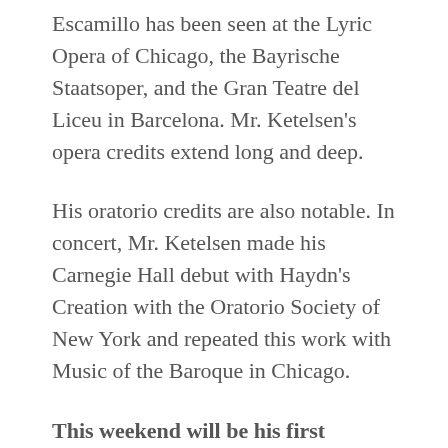Escamillo has been seen at the Lyric Opera of Chicago, the Bayrische Staatsoper, and the Gran Teatre del Liceu in Barcelona. Mr. Ketelsen's opera credits extend long and deep.
His oratorio credits are also notable. In concert, Mr. Ketelsen made his Carnegie Hall debut with Haydn's Creation with the Oratorio Society of New York and repeated this work with Music of the Baroque in Chicago.
This weekend will be his first performance with the Mormon Tabernacle Choir.
~ ~ ~ ~